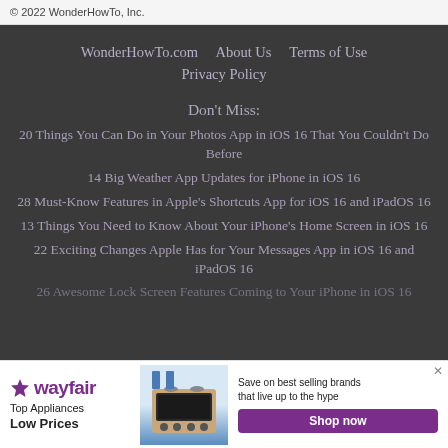© 2022 WonderHowTo, Inc.
WonderHowTo.com   About Us   Terms of Use   Privacy Policy
Don't Miss:
20 Things You Can Do in Your Photos App in iOS 16 That You Couldn't Do Before
14 Big Weather App Updates for iPhone in iOS 16
28 Must-Know Features in Apple's Shortcuts App for iOS 16 and iPadOS 16
13 Things You Need to Know About Your iPhone's Home Screen in iOS 16
22 Exciting Changes Apple Has for Your Messages App in iOS 16 and iPadOS 16
26 Awesome Lock Screen Features Coming to Your iPhone in iOS 16
[Figure (infographic): Wayfair advertisement banner: Top Appliances Low Prices, with stove image, Save on best selling brands that live up to the hype, Shop now button]